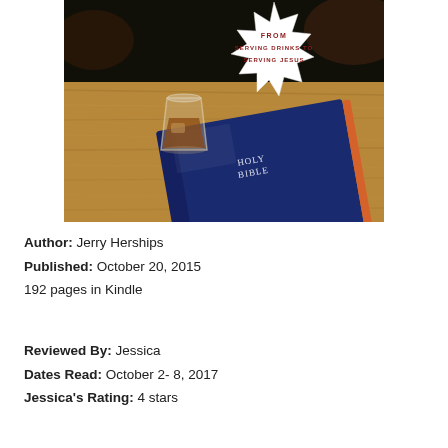[Figure (photo): Book cover showing a whiskey glass and a Holy Bible on a wooden table, with a badge at top reading 'FROM SERVING DRINKS TO SERVING JESUS']
Author: Jerry Herships
Published: October 20, 2015
192 pages in Kindle
Reviewed By: Jessica
Dates Read: October 2- 8, 2017
Jessica's Rating: 4 stars